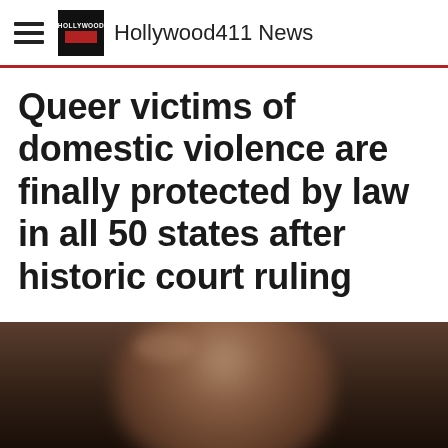Hollywood411 News
Queer victims of domestic violence are finally protected by law in all 50 states after historic court ruling
[Figure (photo): Blurred close-up photo of a person's face, dark and moody background]